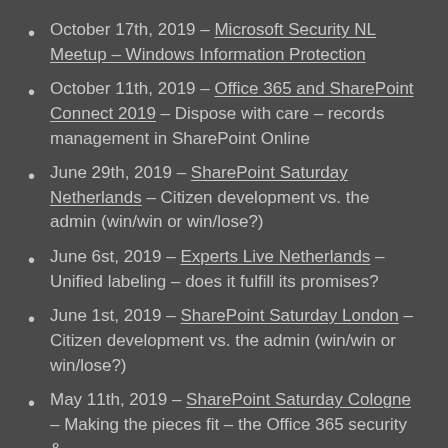October 17th, 2019 – Microsoft Security NL Meetup – Windows Information Protection
October 11th, 2019 – Office 365 and SharePoint Connect 2019 – Dispose with care – records management in SharePoint Online
June 29th, 2019 – SharePoint Saturday Netherlands – Citizen development vs. the admin (win/win or win/lose?)
June 6st, 2019 – Experts Live Netherlands – Unified labeling – does it fulfill its promises?
June 1st, 2019 – SharePoint Saturday London – Citizen development vs. the admin (win/win or win/lose?)
May 11th, 2019 – SharePoint Saturday Cologne – Making the pieces fit – the Office 365 security &